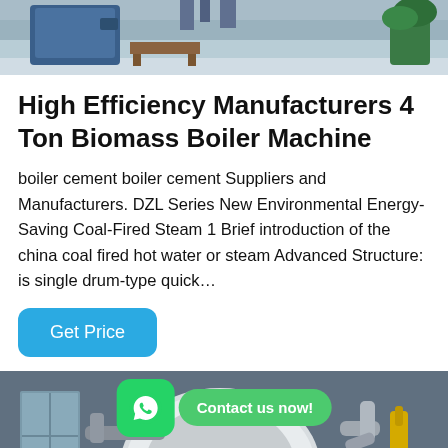[Figure (photo): Top portion of a boiler manufacturing facility, showing industrial equipment, blue machinery, and a plant in the background.]
High Efficiency Manufacturers 4 Ton Biomass Boiler Machine
boiler cement boiler cement Suppliers and Manufacturers. DZL Series New Environmental Energy-Saving Coal-Fired Steam 1 Brief introduction of the china coal fired hot water or steam Advanced Structure: is single drum-type quick…
[Figure (other): Get Price button — blue rounded rectangle with white text]
[Figure (photo): Industrial boiler machine in a factory setting, large white/silver cylindrical boiler with a red component, yellow and silver pipes visible. WhatsApp icon and 'Contact us now!' badge overlay.]